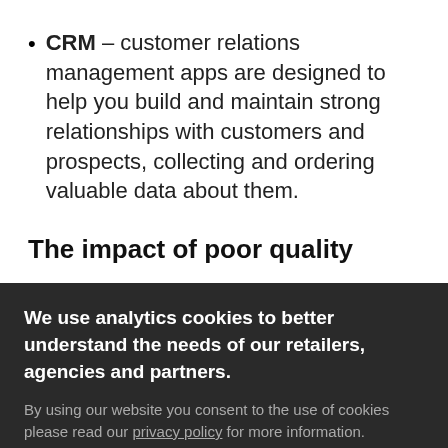CRM – customer relations management apps are designed to help you build and maintain strong relationships with customers and prospects, collecting and ordering valuable data about them.
The impact of poor quality
We use analytics cookies to better understand the needs of our retailers, agencies and partners.
By using our website you consent to the use of cookies please read our privacy policy for more information.
Thanks, got it.
Please do not track my visit